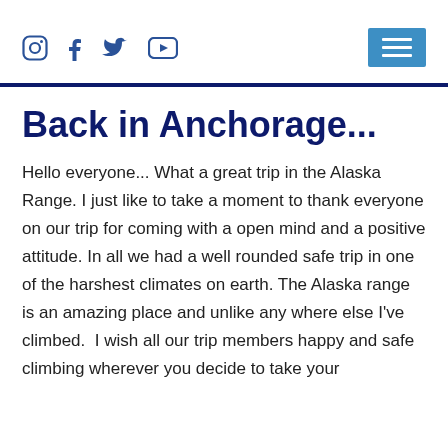Social media icons: Instagram, Facebook, Twitter, YouTube; hamburger menu button
Back in Anchorage...
Hello everyone... What a great trip in the Alaska Range. I just like to take a moment to thank everyone on our trip for coming with a open mind and a positive attitude. In all we had a well rounded safe trip in one of the harshest climates on earth. The Alaska range is an amazing place and unlike any where else I've climbed.  I wish all our trip members happy and safe climbing wherever you decide to take your